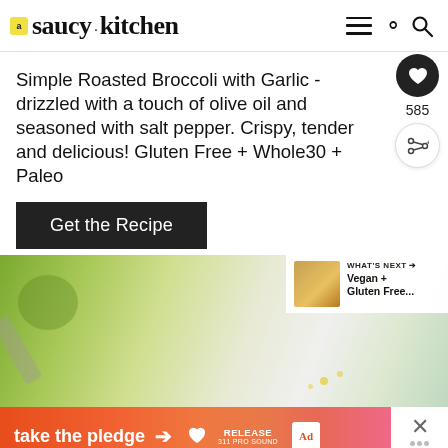saucy kitchen
Simple Roasted Broccoli with Garlic - drizzled with a touch of olive oil and seasoned with salt pepper. Crispy, tender and delicious! Gluten Free + Whole30 + Paleo
Get the Recipe
585
[Figure (photo): Food photo showing green sauce in a bowl and scattered ingredients on a white surface]
WHAT'S NEXT → Vegan + Gluten Free...
[Figure (infographic): Ad banner: take the pledge with arrow, RELEASE branding, ad marker, and close X button]